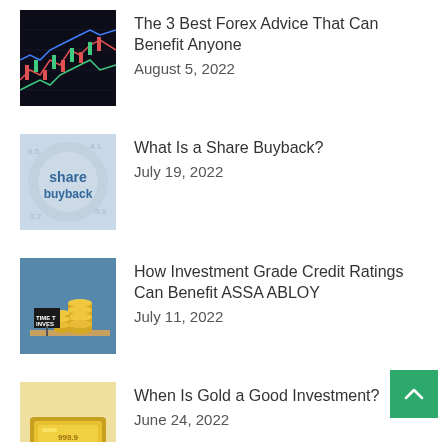The 3 Best Forex Advice That Can Benefit Anyone
August 5, 2022
What Is a Share Buyback?
July 19, 2022
How Investment Grade Credit Ratings Can Benefit ASSA ABLOY
July 11, 2022
When Is Gold a Good Investment?
June 24, 2022